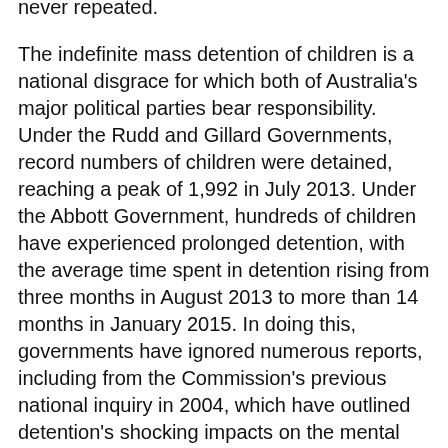never repeated. The indefinite mass detention of children is a national disgrace for which both of Australia's major political parties bear responsibility. Under the Rudd and Gillard Governments, record numbers of children were detained, reaching a peak of 1,992 in July 2013. Under the Abbott Government, hundreds of children have experienced prolonged detention, with the average time spent in detention rising from three months in August 2013 to more than 14 months in January 2015. In doing this, governments have ignored numerous reports, including from the Commission's previous national inquiry in 2004, which have outlined detention's shocking impacts on the mental health of children. At the public hearings conducted as part of the inquiry, previous Ministers for Immigration Chris Bowen and Scott Morrison both acknowledged